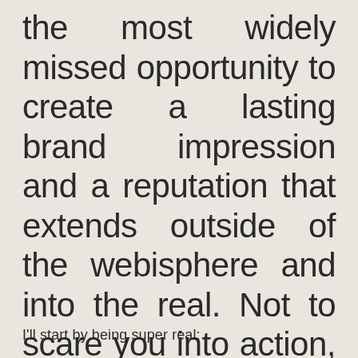the most widely missed opportunity to create a lasting brand impression and a reputation that extends outside of the webisphere and into the real. Not to scare you into action, but to inspire you to start breathing new life into your brand presence, OFFLINE.
I'll start by being super real: